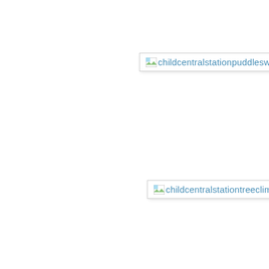[Figure (screenshot): Broken image placeholder with text: childcentralstationpuddleswing]
[Figure (screenshot): Broken image placeholder with text: childcentralstationtreeclimb]
[Figure (screenshot): Broken image placeholder with text: childcentralstationlogjump]
[Figure (screenshot): Broken image placeholder with text: childcentralstationbaseballpaint]
[Figure (screenshot): Broken image placeholder with text: childcentralstationbutterfly]